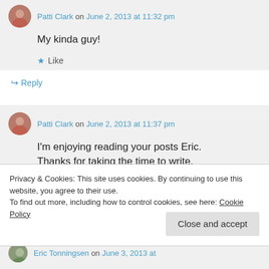Patti Clark on June 2, 2013 at 11:32 pm
My kinda guy!
Like
Reply
Patti Clark on June 2, 2013 at 11:37 pm
I'm enjoying reading your posts Eric. Thanks for taking the time to write.
Privacy & Cookies: This site uses cookies. By continuing to use this website, you agree to their use.
To find out more, including how to control cookies, see here: Cookie Policy
Close and accept
Eric Tonningsen on June 3, 2013 at